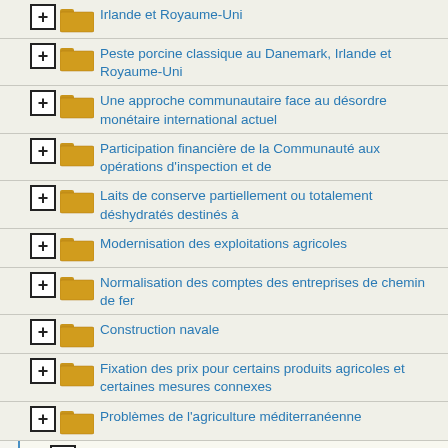Irlande et Royaume-Uni
Peste porcine classique au Danemark, Irlande et Royaume-Uni
Une approche communautaire face au désordre monétaire international actuel
Participation financière de la Communauté aux opérations d'inspection et de
Laits de conserve partiellement ou totalement déshydratés destinés à
Modernisation des exploitations agricoles
Normalisation des comptes des entreprises de chemin de fer
Construction navale
Fixation des prix pour certains produits agricoles et certaines mesures connexes
Problèmes de l'agriculture méditerranéenne
Viste du président
Bulletins d'information